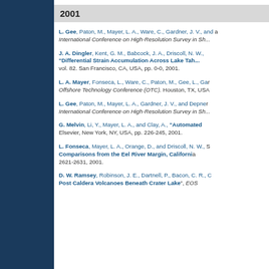2001
L. Gee, Paton, M., Mayer, L. A., Ware, C., Gardner, J. V., and ... International Conference on High-Resolution Survey in Sh...
J. A. Dingler, Kent, G. M., Babcock, J. A., Driscoll, N. W., ... "Differential Strain Accumulation Across Lake Tah..." vol. 82. San Francisco, CA, USA, pp. 0-0, 2001.
L. A. Mayer, Fonseca, L., Ware, C., Paton, M., Gee, L., Gar... Offshore Technology Conference (OTC). Houston, TX, USA...
L. Gee, Paton, M., Mayer, L. A., Gardner, J. V., and Depner... International Conference on High-Resolution Survey in Sh...
G. Melvin, Li, Y., Mayer, L. A., and Clay, A., "Automated..." Elsevier, New York, NY, USA, pp. 226-245, 2001.
L. Fonseca, Mayer, L. A., Orange, D., and Driscoll, N. W., S... Comparisons from the Eel River Margin, California... 2621-2631, 2001.
D. W. Ramsey, Robinson, J. E., Dartnell, P., Bacon, C. R., C... Post Caldera Volcanoes Beneath Crater Lake", EOS...